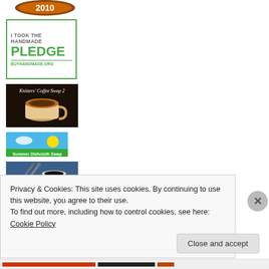[Figure (logo): Badge/seal with '2010' text in orange and brown arc shape]
[Figure (logo): Green-bordered badge reading 'I TOOK THE HANDMADE PLEDGE BUYHANDMADE.ORG']
[Figure (photo): Knitters Coffee Swap 2 banner with coffee cup photo on black background]
[Figure (illustration): Summer Dishcloth Swap banner with sun and landscape illustration]
[Figure (photo): Photo of coffee cup with knitting needles on blue fabric]
Privacy & Cookies: This site uses cookies. By continuing to use this website, you agree to their use.
To find out more, including how to control cookies, see here: Cookie Policy
Close and accept